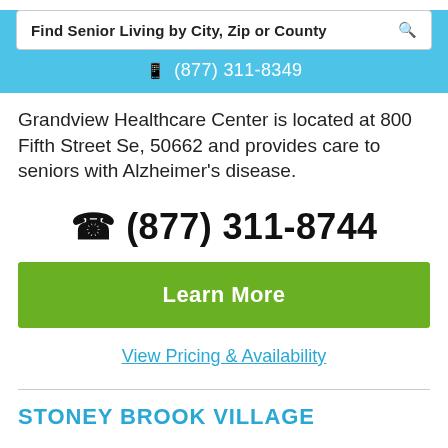Find Senior Living by City, Zip or County
📱 (877) 311-8349
Grandview Healthcare Center is located at 800 Fifth Street Se, 50662 and provides care to seniors with Alzheimer's disease.
📞 (877) 311-8744
Learn More
View Pricing & Availability
STONEY BROOK VILLAGE